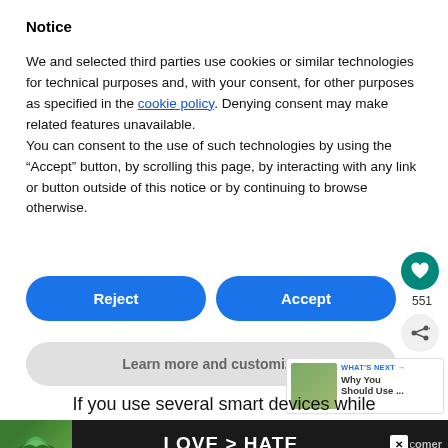Notice
We and selected third parties use cookies or similar technologies for technical purposes and, with your consent, for other purposes as specified in the cookie policy. Denying consent may make related features unavailable.
You can consent to the use of such technologies by using the “Accept” button, by scrolling this page, by interacting with any link or button outside of this notice or by continuing to browse otherwise.
[Figure (screenshot): Two blue rounded buttons labeled Reject and Accept side by side, with a teal heart icon button and share icon on the right, count 551, and a gray Learn more and customize button below]
[Figure (screenshot): WHAT'S NEXT teaser panel with thumbnail image and text 'Why You Should Use ...']
If you use several smart devices while
[Figure (infographic): Advertisement bar showing heart-shaped hands silhouette with text LOVE > HATE and a close X button, with 'comer' text on right]